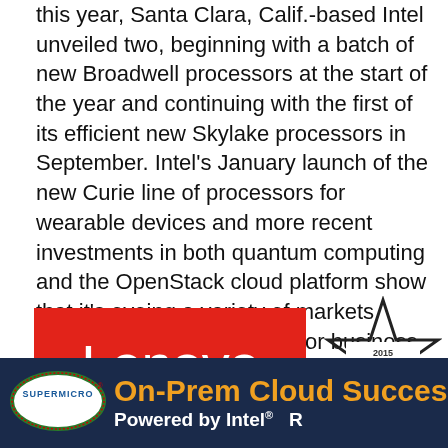this year, Santa Clara, Calif.-based Intel unveiled two, beginning with a batch of new Broadwell processors at the start of the year and continuing with the first of its efficient new Skylake processors in September. Intel's January launch of the new Curie line of processors for wearable devices and more recent investments in both quantum computing and the OpenStack cloud platform show that it's eyeing a variety of markets beyond its core PC processor business too.
[Figure (logo): Lenovo logo — white 'Lenovo' text on red background rectangle]
[Figure (logo): 2015 ChannelPro SMB ALL-STAR badge — black star outline with red and black text]
[Figure (logo): Supermicro logo — oval green and white logo with company name]
On-Prem Cloud Succes… Powered by Intel® R…